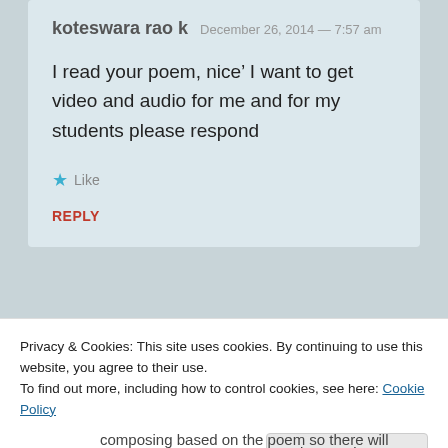koteswara rao k   December 26, 2014 — 7:57 am
I read your poem, nice’ I want to get video and audio for me and for my students please respond
Like
REPLY
Privacy & Cookies: This site uses cookies. By continuing to use this website, you agree to their use.
To find out more, including how to control cookies, see here: Cookie Policy
Close and accept
composing based on the poem so there will